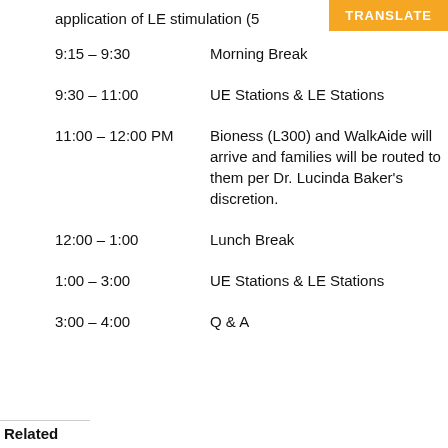application of LE stimulation (5
9:15 – 9:30   Morning Break
9:30 – 11:00   UE Stations & LE Stations
11:00 – 12:00 PM   Bioness (L300) and WalkAide will arrive and families will be routed to them per Dr. Lucinda Baker's discretion.
12:00 – 1:00   Lunch Break
1:00 – 3:00   UE Stations & LE Stations
3:00 – 4:00   Q & A
Related